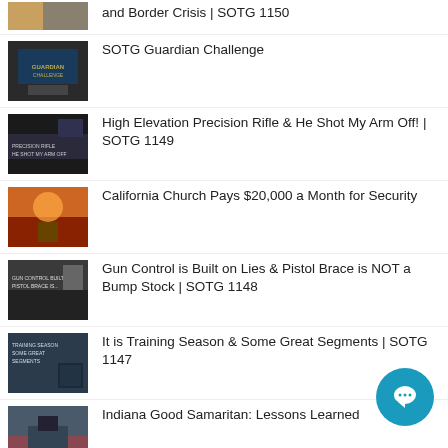and Border Crisis | SOTG 1150
SOTG Guardian Challenge
High Elevation Precision Rifle & He Shot My Arm Off! | SOTG 1149
California Church Pays $20,000 a Month for Security
Gun Control is Built on Lies & Pistol Brace is NOT a Bump Stock | SOTG 1148
It is Training Season & Some Great Segments | SOTG 1147
Indiana Good Samaritan: Lessons Learned
Indiana: Good Guy with a Gun Stops Mass Murder & SOTG Camo? | SOTG 1146